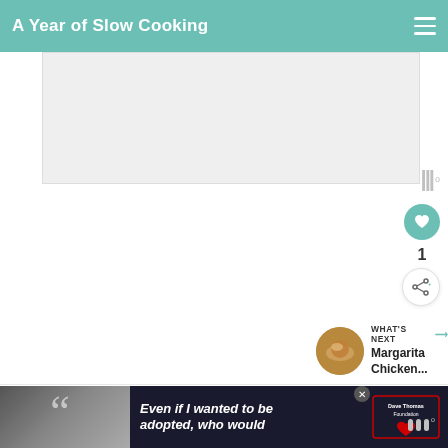A Year of Slow Cooking
[Figure (photo): Large blank/white image placeholder area for a recipe photo]
[Figure (infographic): Heart favorite button (teal circle with heart icon), count '1', and share button (circle with share icon) on the right side]
[Figure (infographic): What's Next panel with circular thumbnail of chicken/rice dish and text 'WHAT'S NEXT → Margarita Chicken...']
[Figure (photo): Advertisement banner: black and white photo of woman with quote marks, dark background with italic text 'Even if I wanted to be adopted, who would', Dave Thomas Foundation for Adoption logo, and close button]